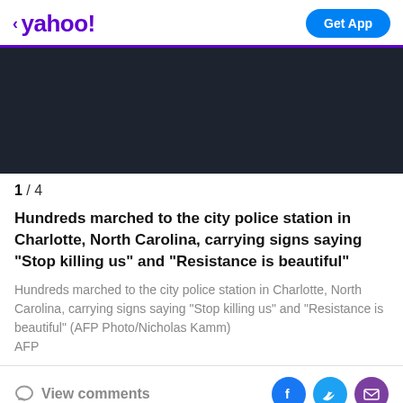< yahoo!  Get App
[Figure (photo): Dark background image area (photo placeholder)]
1 / 4
Hundreds marched to the city police station in Charlotte, North Carolina, carrying signs saying "Stop killing us" and "Resistance is beautiful"
Hundreds marched to the city police station in Charlotte, North Carolina, carrying signs saying "Stop killing us" and "Resistance is beautiful" (AFP Photo/Nicholas Kamm)
AFP
View comments